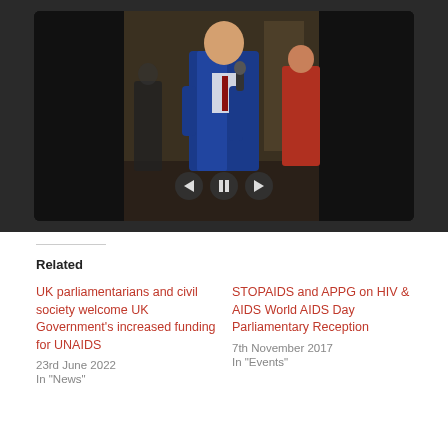[Figure (photo): Slideshow photo of a man in a blue suit speaking into a microphone at a parliamentary event. A woman in a red jacket is visible in the background. Slideshow navigation controls (back, pause, forward) are overlaid at the bottom center of the image.]
Related
UK parliamentarians and civil society welcome UK Government's increased funding for UNAIDS
23rd June 2022
In "News"
STOPAIDS and APPG on HIV & AIDS World AIDS Day Parliamentary Reception
7th November 2017
In "Events"